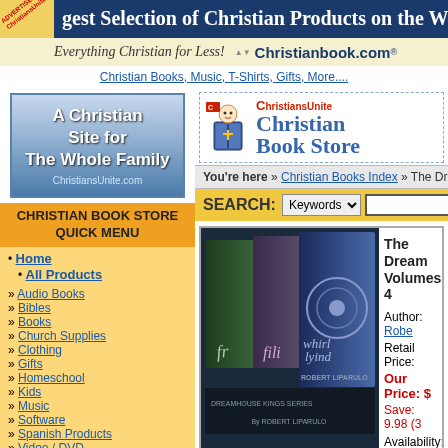gest Selection of Christian Products on the Web
[Figure (logo): Christianbook.com banner with 'Everything Christian for Less!' tagline]
Christian Books, Music, T-Shirts, Gifts, More....
[Figure (logo): ChristiansUnite.com - A Christian Site for The Whole Family logo]
CHRISTIAN BOOK STORE QUICK MENU
Home
All Products
Audio Books
Bibles
Books
Church Supplies
Clothing
Gifts
Homeschool
Kids
Music
Software
Spanish Products
Video / DVD
Special Searches
[Figure (logo): ChristiansUnite Christian Book Store header logo]
You're here » Christian Books Index » The Dreamhouse
SEARCH: Keywords
[Figure (photo): Book covers for The Dreamhouse series by Robert Liparulo, including 'Whirlwind']
The Dream Volumes 4
Author: Robe
Retail Price:
Our Price: $
Save: 9.98 (3
Availability: I
MORE INFORM
Similar Items you ma